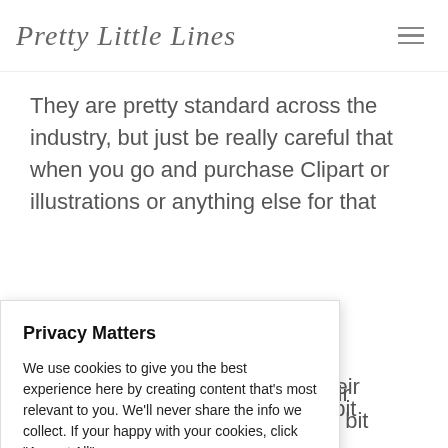Pretty Little Lines
They are pretty standard across the industry, but just be really careful that when you go and purchase Clipart or illustrations or anything else for that
er
c their
little bit
ut I
d, so
a across
Privacy Matters
We use cookies to give you the best experience here by creating content that's most relevant to you. We'll never share the info we collect. If your happy with your cookies, click "Accept All".
Cookie Settings
Accept All